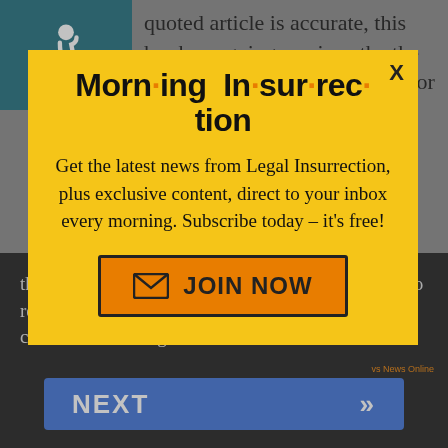quoted article is accurate, this has been going on since the the first Obama administration, prior to its agreement to handle "intercepted" communications
[Figure (screenshot): Morning Insurrection newsletter popup modal with yellow background, showing title 'Morn·ing In·sur·rec·tion', description text, and JOIN NOW button]
the Wonder Chim n parking garages all over DC to receive leaked inform Instead all we hear are crickets. Adm. Rogers
[Figure (screenshot): NEXT button in blue with double chevron arrows]